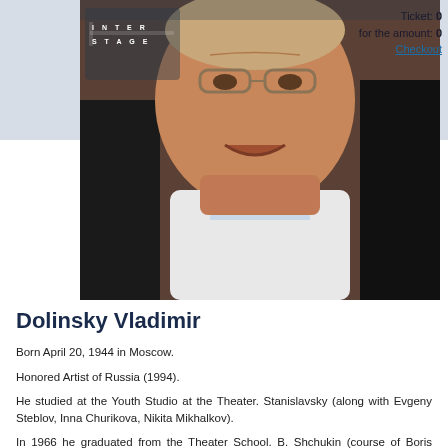Ticket: 0
for the amount: 0
Checkout
[Figure (photo): Portrait photo of Vladimir Dolinsky, a middle-aged man with glasses, wearing a dark jacket and white shirt, smiling. An 'Interstage' logo watermark overlays the top-left corner of the photo.]
Dolinsky Vladimir
Born April 20, 1944 in Moscow.
Honored Artist of Russia (1994).
He studied at the Youth Studio at the Theater. Stanislavsky (along with Evgeny Steblov, Inna Churikova, Nikita Mikhalkov).
In 1966 he graduated from the Theater School. B. Shchukin (course of Boris Evgenievich Zakhava), worked at the Satire Theater.